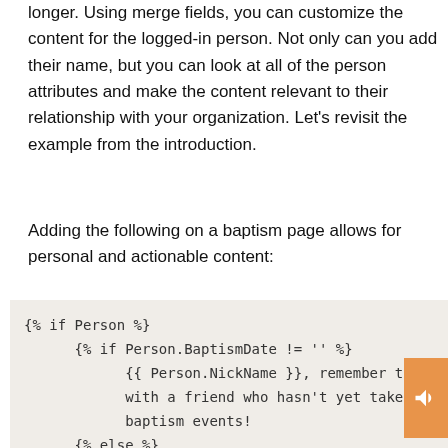longer. Using merge fields, you can customize the content for the logged-in person. Not only can you add their name, but you can look at all of the person attributes and make the content relevant to their relationship with your organization. Let's revisit the example from the introduction.
Adding the following on a baptism page allows for personal and actionable content: